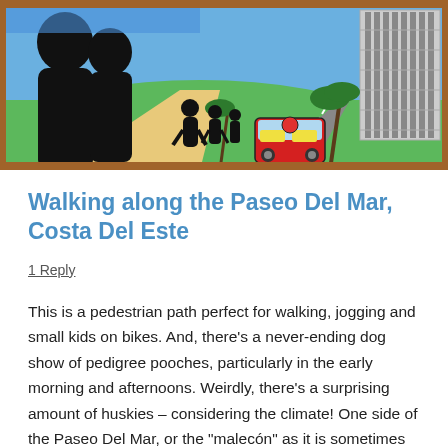[Figure (illustration): Colorful folk-art style illustration showing silhouetted figures of adults and children playing near a road with a decorated jeepney bus, palm trees, and a tall striped building in the background under a blue sky.]
Walking along the Paseo Del Mar, Costa Del Este
1 Reply
This is a pedestrian path perfect for walking, jogging and small kids on bikes. And, there’s a never-ending dog show of pedigree pooches, particularly in the early morning and afternoons. Weirdly, there’s a surprising amount of huskies – considering the climate! One side of the Paseo Del Mar, or the “malecón” as it is sometimes called (meaning breakwater